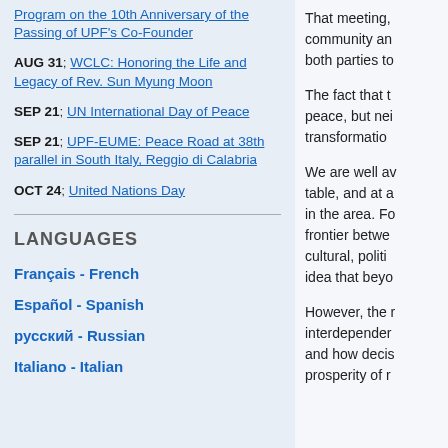Program on the 10th Anniversary of the Passing of UPF's Co-Founder
AUG 31: WCLC: Honoring the Life and Legacy of Rev. Sun Myung Moon
SEP 21: UN International Day of Peace
SEP 21: UPF-EUME: Peace Road at 38th parallel in South Italy, Reggio di Calabria
OCT 24: United Nations Day
LANGUAGES
Français - French
Español - Spanish
русский - Russian
Italiano - Italian
That meeting, community an both parties to
The fact that t peace, but nei transformation
We are well av table, and at a in the area. Fo frontier betwe cultural, politi idea that beyo
However, the interdependen and how decis prosperity of r